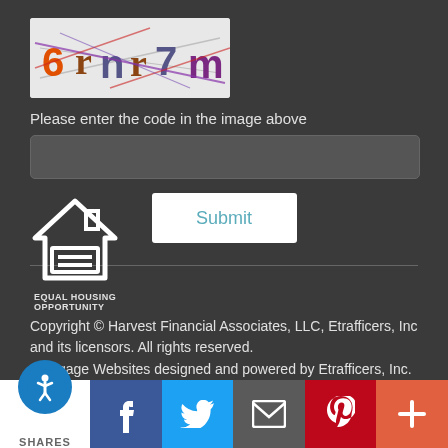[Figure (other): CAPTCHA image showing distorted text characters '6rnr7m' with colorful overlapping lines on a light gray background]
Please enter the code in the image above
[Figure (other): Text input field for CAPTCHA code entry]
[Figure (other): Submit button]
[Figure (logo): Equal Housing Opportunity logo - house outline with equals sign]
EQUAL HOUSING OPPORTUNITY
Copyright © Harvest Financial Associates, LLC, Etrafficers, Inc and its licensors. All rights reserved. Mortgage Websites designed and powered by Etrafficers, Inc.
[Figure (other): Social sharing bar with accessibility icon, SHARES label, Facebook, Twitter, Email, Pinterest, and more (+) buttons]